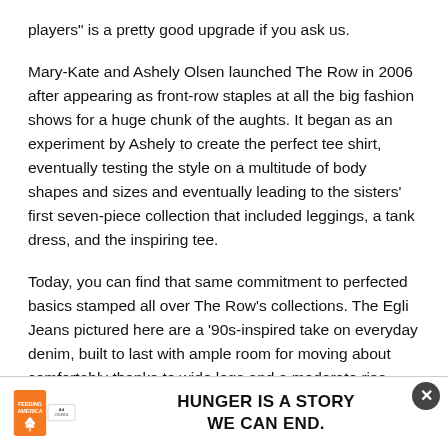players" is a pretty good upgrade if you ask us.
Mary-Kate and Ashely Olsen launched The Row in 2006 after appearing as front-row staples at all the big fashion shows for a huge chunk of the aughts. It began as an experiment by Ashely to create the perfect tee shirt, eventually testing the style on a multitude of body shapes and sizes and eventually leading to the sisters' first seven-piece collection that included leggings, a tank dress, and the inspiring tee.
Today, you can find that same commitment to perfected basics stamped all over The Row's collections. The Egli Jeans pictured here are a '90s-inspired take on everyday denim, built to last with ample room for moving about comfortably thanks to wide legs and a moderate rise. While the price points are certainly in the high-fashion range, the compa... and withsta... anging trends...
[Figure (other): Advertisement banner for Feeding America: 'HUNGER IS A STORY WE CAN END.' with Feeding America logo and Ad Council badge. Close button (X) in top right corner.]